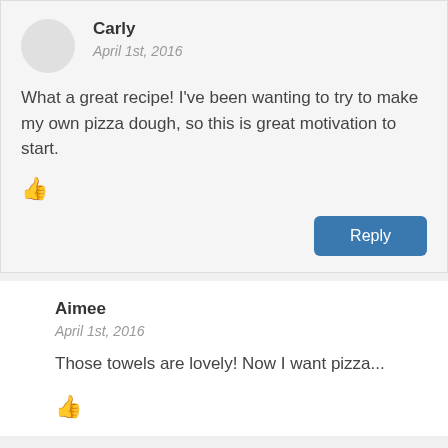Carly
April 1st, 2016
What a great recipe! I've been wanting to try to make my own pizza dough, so this is great motivation to start.
Reply
Aimee
April 1st, 2016
Those towels are lovely! Now I want pizza...